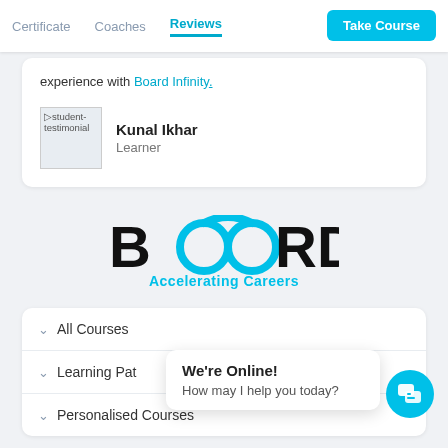Certificate  Coaches  Reviews  Take Course
experience with Board Infinity.
[Figure (photo): Student testimonial placeholder image]
Kunal Ikhar
Learner
[Figure (logo): Board Infinity logo with text 'BOARD Accelerating Careers']
All Courses
Learning Pat...
Personalised Courses
We're Online!
How may I help you today?